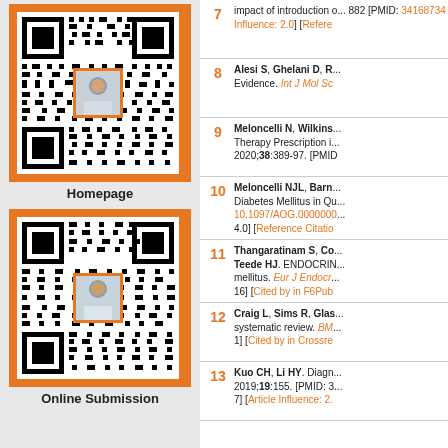[Figure (other): QR code for Homepage with author photo in center, orange border frame]
Homepage
[Figure (other): QR code for Online Submission with author photo in center, orange border frame]
Online Submission
7 - impact of introduction of ... 882 [PMID: 34168734 Influence: 2.0] [Refere...
8 - Alesi S, Ghelani D, R... Evidence. Int J Mol Sc...
9 - Meloncelli N, Wilkins... Therapy Prescription i... 2020;38:389-97. [PMID...
10 - Meloncelli NJL, Barn... Diabetes Mellitus in Qu... 10.1097/AOG.0000000... 4.0] [Reference Citatio...
11 - Thangaratinam S, Co... Teede HJ. ENDOCRIN... mellitus. Eur J Endocr... 16] [Cited by in F6Pub...
12 - Craig L, Sims R, Glas... systematic review. BM... 1] [Cited by in Crossre...
13 - Kuo CH, Li HY. Diagn... 2019;19:155. [PMID: 3... 7] [Article Influence: 2....